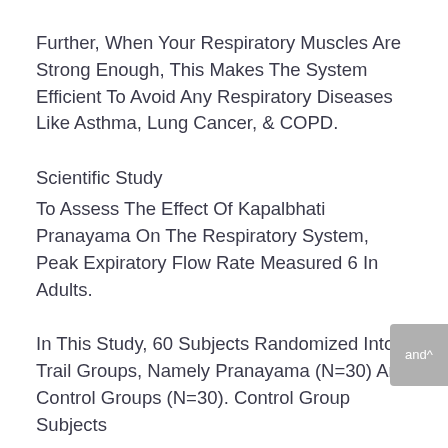Further, When Your Respiratory Muscles Are Strong Enough, This Makes The System Efficient To Avoid Any Respiratory Diseases Like Asthma, Lung Cancer, & COPD.
Scientific Study
To Assess The Effect Of Kapalbhati Pranayama On The Respiratory System, Peak Expiratory Flow Rate Measured 6 In Adults.
In This Study, 60 Subjects Randomized Into 2 Trail Groups, Namely Pranayama (N=30) And Control Groups (N=30). Control Group Subjects